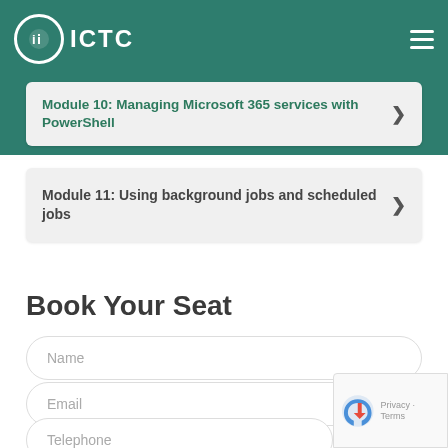ICTC
Module 10: Managing Microsoft 365 services with PowerShell
Module 11: Using background jobs and scheduled jobs
Book Your Seat
Name
Email
Telephone